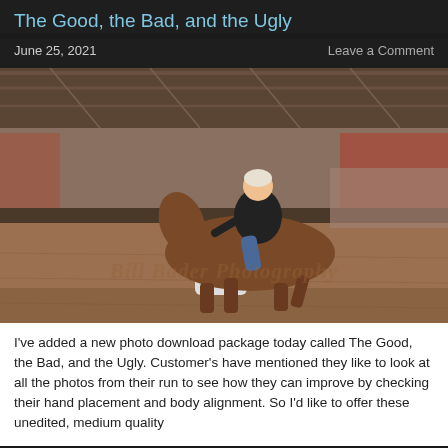The Good, the Bad, and the Ugly
June 25, 2021   Leave a Comment
[Figure (photo): A person riding a brown horse around a barrel in an indoor rodeo arena. The rider is wearing a black t-shirt and jeans, with a bandana in their hair. The barrel has 'Henderson' and 'CM Farm' branding. A watermark reads 'Bill Bader Photography'.]
I've added a new photo download package today called The Good, the Bad, and the Ugly. Customer's have mentioned they like to look at all the photos from their run to see how they can improve by checking their hand placement and body alignment. So I'd like to offer these unedited, medium quality